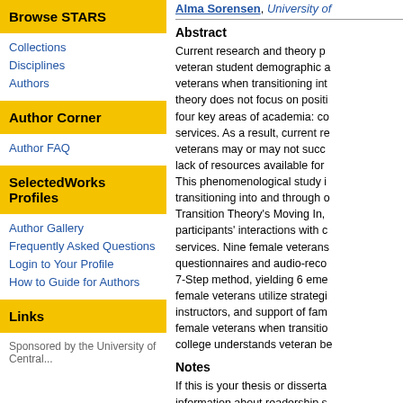Browse STARS
Collections
Disciplines
Authors
Author Corner
Author FAQ
SelectedWorks Profiles
Author Gallery
Frequently Asked Questions
Login to Your Profile
How to Guide for Authors
Links
Alma Sorensen, University of
Abstract
Current research and theory p... veteran student demographic a... veterans when transitioning int... theory does not focus on positi... four key areas of academia: co... services. As a result, current re... veterans may or may not succ... lack of resources available for... This phenomenological study i... transitioning into and through o... Transition Theory's Moving In,... participants' interactions with c... services. Nine female veterans... questionnaires and audio-reco... 7-Step method, yielding 6 eme... female veterans utilize strategi... instructors, and support of fam... female veterans when transitio... college understands veteran be...
Notes
If this is your thesis or disserta... information about readership s...